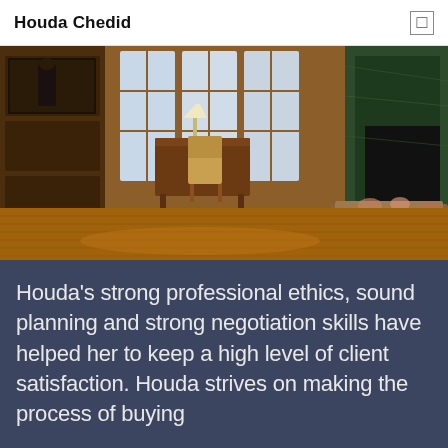Houda Chedid
[Figure (photo): Elegant wood-paneled room with hardwood floors, antique desk and chair, tall windows letting in natural light, a fireplace with dark green marble surround, and a painting on the wall.]
Houda's strong professional ethics, sound planning and strong negotiation skills have helped her to keep a high level of client satisfaction. Houda strives on making the process of buying